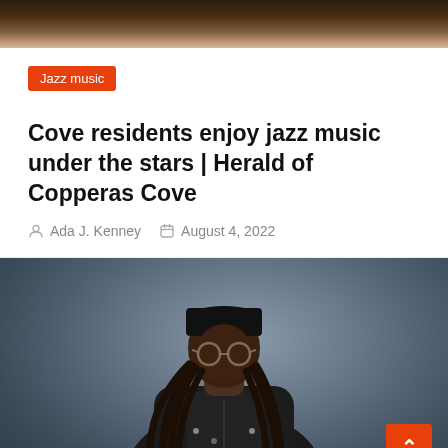[Figure (photo): Top strip showing a partial photo — wooden table or surface with dark brown tones]
Jazz music
Cove residents enjoy jazz music under the stars | Herald of Copperas Cove
Ada J. Kenney   August 4, 2022
[Figure (photo): Portrait photo of a young Black man with long dreadlocks, wearing a black beanie hat, black hooded jacket, and round glasses, photographed against a grey-blue studio background. A small orange scroll-to-top button is overlaid at the bottom right.]